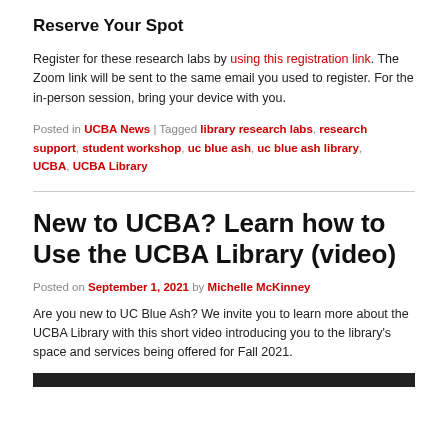Reserve Your Spot
Register for these research labs by using this registration link. The Zoom link will be sent to the same email you used to register. For the in-person session, bring your device with you.
Posted in UCBA News | Tagged library research labs, research support, student workshop, uc blue ash, uc blue ash library, UCBA, UCBA Library
New to UCBA? Learn how to Use the UCBA Library (video)
Posted on September 1, 2021 by Michelle McKinney
Are you new to UC Blue Ash? We invite you to learn more about the UCBA Library with this short video introducing you to the library's space and services being offered for Fall 2021.
[Figure (screenshot): Bottom edge of a video or image thumbnail, dark background strip visible at bottom of page.]